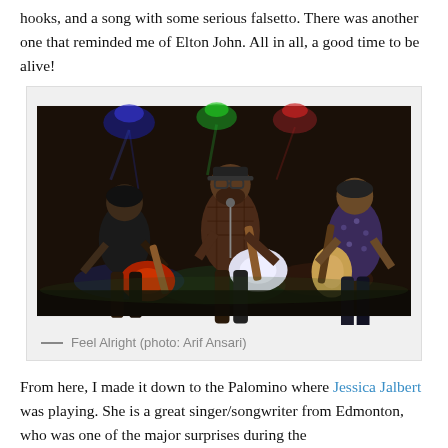hooks, and a song with some serious falsetto. There was another one that reminded me of Elton John. All in all, a good time to be alive!
[Figure (photo): Concert photo of three musicians playing guitars on a dark stage with colored stage lights (blue, red, green). The center musician wears glasses and plays a white guitar at a microphone. The left musician plays a red guitar. The right musician plays a bass guitar.]
— Feel Alright (photo: Arif Ansari)
From here, I made it down to the Palomino where Jessica Jalbert was playing. She is a great singer/songwriter from Edmonton, who was one of the major surprises during the